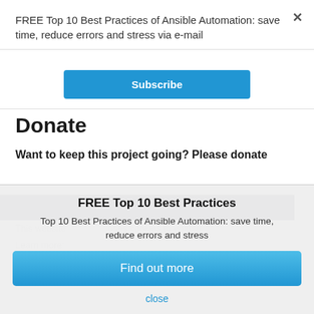FREE Top 10 Best Practices of Ansible Automation: save time, reduce errors and stress via e-mail
[Figure (screenshot): Subscribe button in blue]
Donate
Want to keep this project going? Please donate
[Figure (screenshot): Dark navigation bar]
This website uses cookies to enable...
Learn more:
FREE Top 10 Best Practices
Top 10 Best Practices of Ansible Automation: save time, reduce errors and stress
[Figure (screenshot): Find out more button in blue]
close